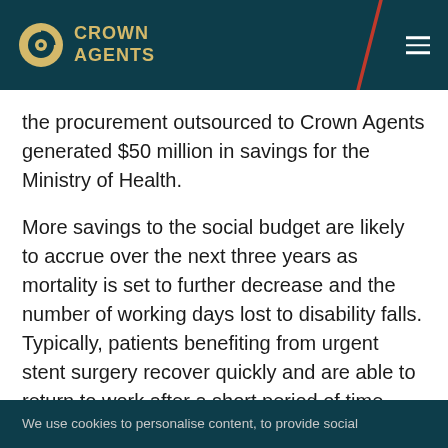Crown Agents
the procurement outsourced to Crown Agents generated $50 million in savings for the Ministry of Health.
More savings to the social budget are likely to accrue over the next three years as mortality is set to further decrease and the number of working days lost to disability falls. Typically, patients benefiting from urgent stent surgery recover quickly and are able to return to work after a short period of time.
We use cookies to personalise content, to provide social